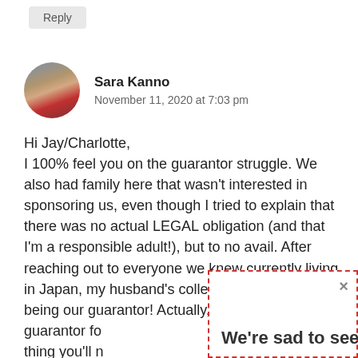Reply
Sara Kanno
November 11, 2020 at 7:03 pm
Hi Jay/Charlotte,
I 100% feel you on the guarantor struggle. We also had family here that wasn't interested in sponsoring us, even though I tried to explain that there was no actual LEGAL obligation (and that I'm a responsible adult!), but to no avail. After reaching out to everyone we knew currently living in Japan, my husband's college buddy ended up being our guarantor! Actually, he's been our guarantor fo thing you'll n
We're sad to see you